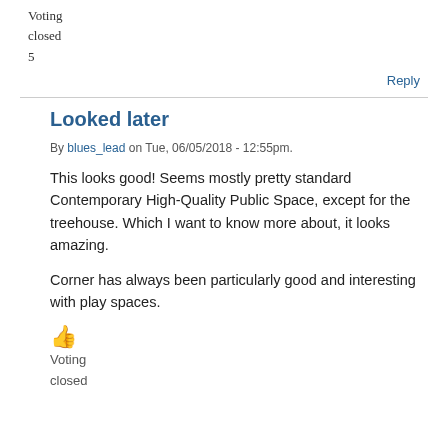Voting
closed
5
Reply
Looked later
By blues_lead on Tue, 06/05/2018 - 12:55pm.
This looks good! Seems mostly pretty standard Contemporary High-Quality Public Space, except for the treehouse. Which I want to know more about, it looks amazing.

Corner has always been particularly good and interesting with play spaces.
👍
Voting
closed